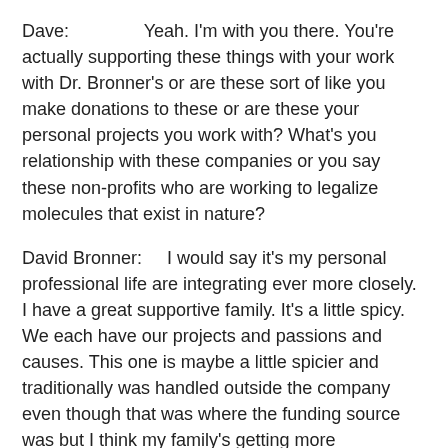Dave:              Yeah. I'm with you there. You're actually supporting these things with your work with Dr. Bronner's or are these sort of like you make donations to these or are these your personal projects you work with? What's you relationship with these companies or you say these non-profits who are working to legalize molecules that exist in nature?
David Bronner:     I would say it's my personal professional life are integrating ever more closely. I have a great supportive family. It's a little spicy. We each have our projects and passions and causes. This one is maybe a little spicier and traditionally was handled outside the company even though that was where the funding source was but I think my family's getting more comfortable with us being more public about it but it's still a little bit in the background. We're more public